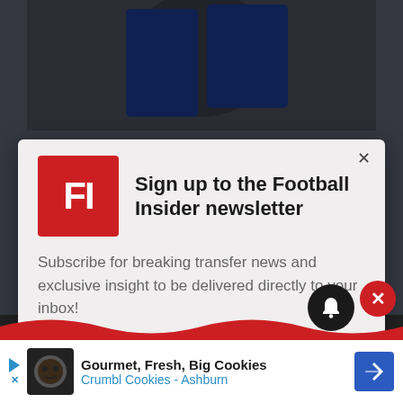[Figure (screenshot): Background sports photo of football players, dimmed with overlay]
Sign up to the Football Insider newsletter
Subscribe for breaking transfer news and exclusive insight to be delivered directly to your inbox!
Click Here to Subscribe Now
Not using HubSpot yet?
[Figure (infographic): Bottom advertisement bar: Gourmet, Fresh, Big Cookies - Crumbl Cookies - Ashburn with navigation icon]
[Figure (infographic): Bell notification button and red close circle button]